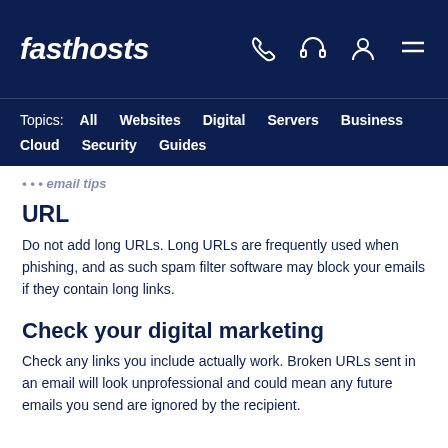fasthosts
Topics: All  Websites  Digital  Servers  Business  Cloud  Security  Guides
URL
Do not add long URLs. Long URLs are frequently used when phishing, and as such spam filter software may block your emails if they contain long links.
Check your digital marketing
Check any links you include actually work. Broken URLs sent in an email will look unprofessional and could mean any future emails you send are ignored by the recipient.